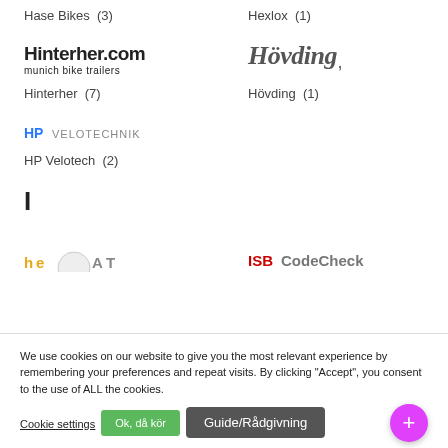Hase Bikes  (3)
Hexlox  (1)
[Figure (logo): Hinterher.com munich bike trailers logo — bold black sans-serif text]
[Figure (logo): Hövding italic serif stylized logo in dark gray]
Hinterher  (7)
Hövding  (1)
[Figure (logo): HP Velotechnik logo — HP in blue, VELOTECHNIK in gray uppercase]
HP Velotech  (2)
I
[Figure (logo): Partially visible logo at bottom left (truncated)]
[Figure (logo): ISBCodeCheck partially visible logo at bottom right]
We use cookies on our website to give you the most relevant experience by remembering your preferences and repeat visits. By clicking “Accept”, you consent to the use of ALL the cookies.
Cookie settings
Ok, då kör
Guide/Rådgivning